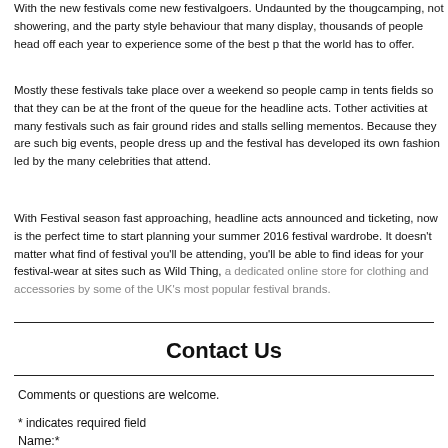With the new festivals come new festivalgoers. Undaunted by the thought of camping, not showering, and the party style behaviour that many display, thousands of people head off each year to experience some of the best p... that the world has to offer.
Mostly these festivals take place over a weekend so people camp in tents in fields so that they can be at the front of the queue for the headline acts. There are other activities at many festivals such as fair ground rides and stalls selling mementos. Because they are such big events, people dress up and the festival has developed its own fashion led by the many celebrities that attend.
With Festival season fast approaching, headline acts announced and tickets sold, now is the perfect time to start planning your summer 2016 festival wardrobe. It doesn't matter what find of festival you'll be attending, you'll be able to find ideas for your festival-wear at sites such as Wild Thing, a dedicated online store for clothing and accessories by some of the UK's most popular festival brands.
Contact Us
Comments or questions are welcome.
* indicates required field
Name:*